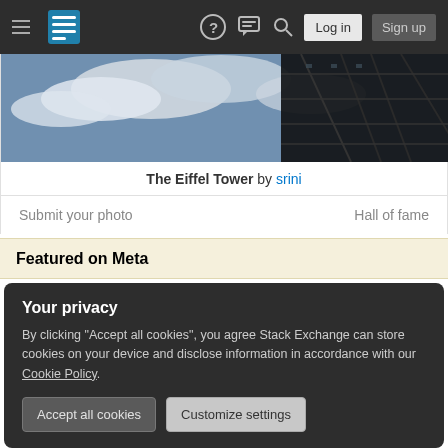[Figure (screenshot): Stack Exchange website navigation bar with hamburger menu, logo, help icon, chat icon, search icon, Log in and Sign up buttons on dark background]
[Figure (photo): Photo of the Eiffel Tower taken from below against a cloudy sky, dark and dramatic angle]
The Eiffel Tower by srini
Submit your photo
Hall of fame
Featured on Meta
Your privacy
By clicking "Accept all cookies", you agree Stack Exchange can store cookies on your device and disclose information in accordance with our Cookie Policy.
Accept all cookies
Customize settings
43    Is there a sane reason why ½₁₂₅ is not, instead, exactly half of